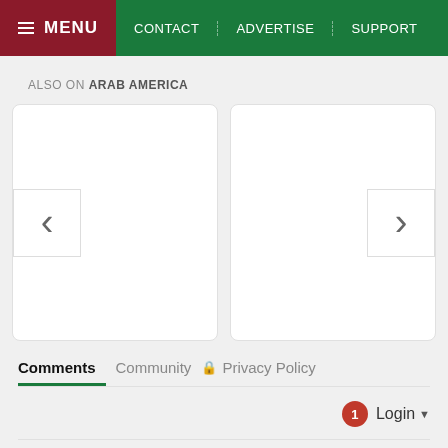MENU | CONTACT | ADVERTISE | SUPPORT
ALSO ON ARAB AMERICA
[Figure (other): Carousel with two white card panels, left arrow button and right arrow button for navigation]
Comments | Community | Privacy Policy
1 Login ▾
♡ Favorite 1 | Sort by Best ▾